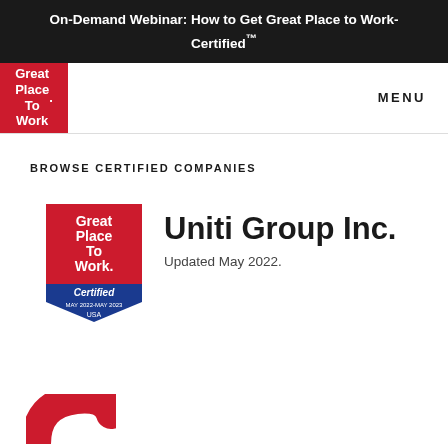On-Demand Webinar: How to Get Great Place to Work-Certified™
[Figure (logo): Great Place To Work logo in red square, navigation bar with MENU text]
BROWSE CERTIFIED COMPANIES
[Figure (logo): Great Place To Work Certified badge MAY 2022-MAY 2023 USA]
Uniti Group Inc.
Updated May 2022.
[Figure (logo): Partial red arc logo at bottom of page]